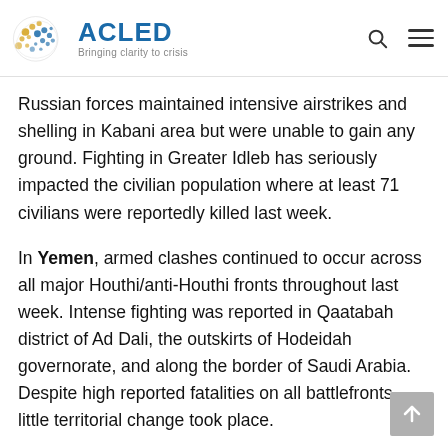ACLED — Bringing clarity to crisis
Russian forces maintained intensive airstrikes and shelling in Kabani area but were unable to gain any ground. Fighting in Greater Idleb has seriously impacted the civilian population where at least 71 civilians were reportedly killed last week.
In Yemen, armed clashes continued to occur across all major Houthi/anti-Houthi fronts throughout last week. Intense fighting was reported in Qaatabah district of Ad Dali, the outskirts of Hodeidah governorate, and along the border of Saudi Arabia. Despite high reported fatalities on all battlefronts, little territorial change took place.